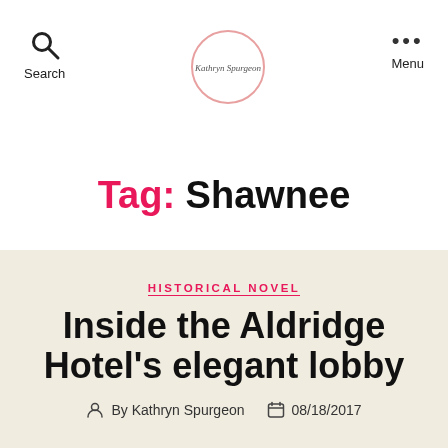Search | Kathryn Spurgeon | Menu
Tag: Shawnee
HISTORICAL NOVEL
Inside the Aldridge Hotel's elegant lobby
By Kathryn Spurgeon   08/18/2017
1 Comment